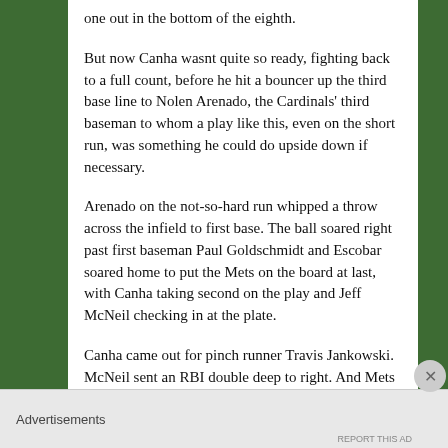one out in the bottom of the eighth.
But now Canha wasnt quite so ready, fighting back to a full count, before he hit a bouncer up the third base line to Nolen Arenado, the Cardinals' third baseman to whom a play like this, even on the short run, was something he could do upside down if necessary.
Arenado on the not-so-hard run whipped a throw across the infield to first base. The ball soared right past first baseman Paul Goldschmidt and Escobar soared home to put the Mets on the board at last, with Canha taking second on the play and Jeff McNeil checking in at the plate.
Canha came out for pinch runner Travis Jankowski. McNeil sent an RBI double deep to right. And Mets
Advertisements